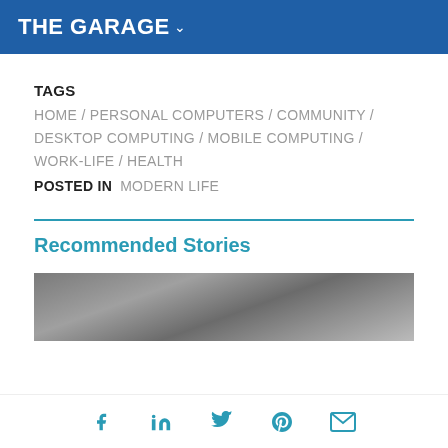THE GARAGE
TAGS
HOME / PERSONAL COMPUTERS / COMMUNITY / DESKTOP COMPUTING / MOBILE COMPUTING / WORK-LIFE / HEALTH
POSTED IN  MODERN LIFE
Recommended Stories
[Figure (photo): Partial view of a dark textured surface photo, cropped at bottom of page]
Social share icons: Facebook, LinkedIn, Twitter, Pinterest, Email